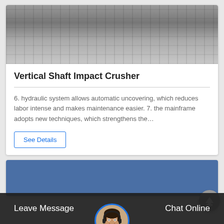[Figure (photo): Black and white photograph of a construction/mining site with heavy machinery and gravel/crushed material on the ground]
Vertical Shaft Impact Crusher
6. hydraulic system allows automatic uncovering, which reduces labor intense and makes maintenance easier. 7. the mainframe adopts new techniques, which strengthens the…
See Details
[Figure (photo): Blue banner section with customer service representative avatar (woman with headset) overlaid on bottom chat bar]
Leave Message
Chat Online